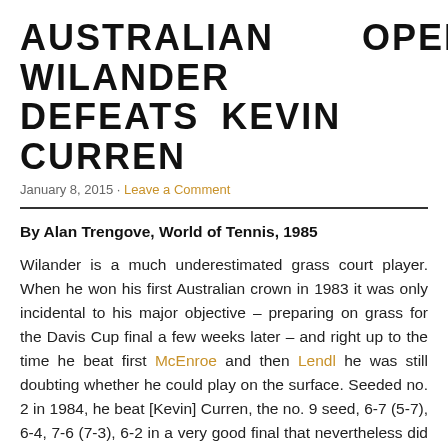AUSTRALIAN OPEN 1984: MA WILANDER DEFEATS KEVIN CURREN
January 8, 2015 · Leave a Comment
By Alan Trengove, World of Tennis, 1985
Wilander is a much underestimated grass court player. When he won his first Australian crown in 1983 it was only incidental to his major objective – preparing on grass for the Davis Cup final a few weeks later – and right up to the time he beat first McEnroe and then Lendl he was still doubting whether he could play on the surface. Seeded no. 2 in 1984, he beat [Kevin] Curren, the no. 9 seed, 6-7 (5-7), 6-4, 7-6 (7-3), 6-2 in a very good final that nevertheless did not quite reach the height it sometimes promised to do. The lanky and angular Curren had eliminated the slightly injured Lendl, the top seed, in the fourth round. He followed that success with impressive wins over Scott Davis...